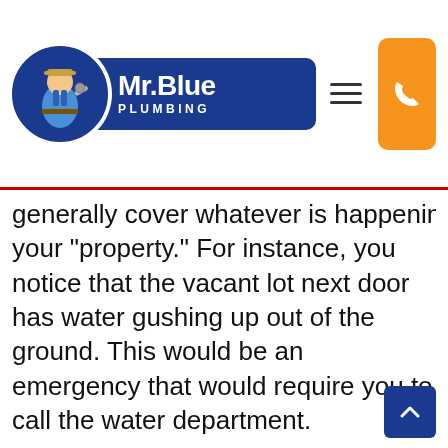[Figure (logo): Mr. Blue Plumbing logo with circular emblem showing a plumber figure and blue badge with company name, plus hamburger menu icon and orange call button in the top navigation bar]
generally cover whatever is happening outside your “property.” For instance, you notice that the vacant lot next door has water gushing up out of the ground. This would be an emergency that would require you to call the water department.
Another less straightforward situation is your water bill. If you have noticed that each month it climbs a little, the problem could be diagnosed with our help. Not sure if you want